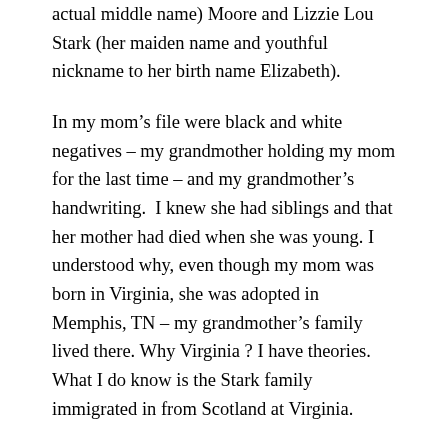actual middle name) Moore and Lizzie Lou Stark (her maiden name and youthful nickname to her birth name Elizabeth).
In my mom's file were black and white negatives – my grandmother holding my mom for the last time – and my grandmother's handwriting.  I knew she had siblings and that her mother had died when she was young. I understood why, even though my mom was born in Virginia, she was adopted in Memphis, TN – my grandmother's family lived there. Why Virginia ? I have theories. What I do know is the Stark family immigrated in from Scotland at Virginia.
It is hard to explain the impact of having so much information after 60+ years of living for my own self and the sorrow that my mom was denied such a